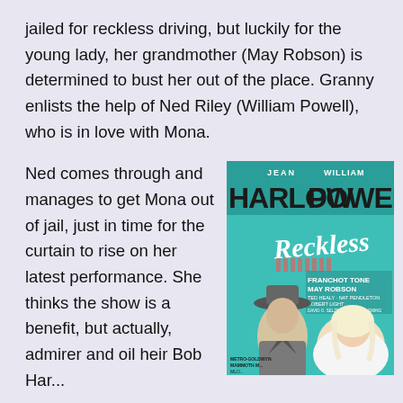jailed for reckless driving, but luckily for the young lady, her grandmother (May Robson) is determined to bust her out of the place. Granny enlists the help of Ned Riley (William Powell), who is in love with Mona.
Ned comes through and manages to get Mona out of jail, just in time for the curtain to rise on her latest performance. She thinks the show is a benefit, but actually, admirer and oil heir Bob Har...
[Figure (illustration): Movie poster for 'Reckless' featuring Jean Harlow and William Powell. Teal/green background with large stylized text 'HARLOW' and 'POWELL' at top, cursive 'Reckless' title in center, credits listing Franchot Tone, May Robson, Ted Healy, Nat Pendleton, Robert Light, David O. Selznick, Victor Fleming. Bottom shows two figures: man in hat and suit, woman with platinum blonde hair. Metro Goldwyn Mayer / Mammoth production.]